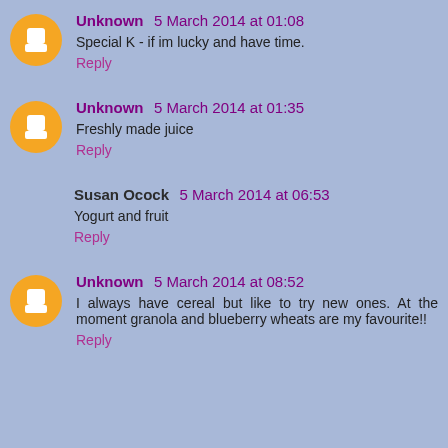Unknown 5 March 2014 at 01:08
Special K - if im lucky and have time.
Reply
Unknown 5 March 2014 at 01:35
Freshly made juice
Reply
Susan Ocock 5 March 2014 at 06:53
Yogurt and fruit
Reply
Unknown 5 March 2014 at 08:52
I always have cereal but like to try new ones. At the moment granola and blueberry wheats are my favourite!!
Reply